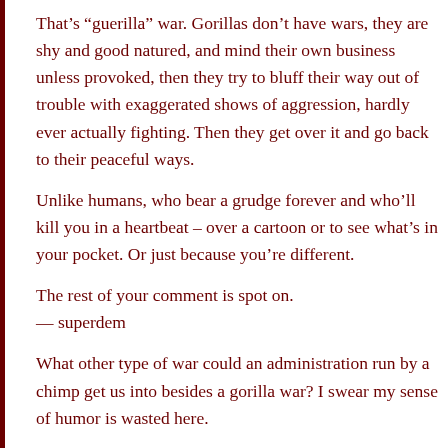That's “guerilla” war. Gorillas don’t have wars, they are shy and good natured, and mind their own business unless provoked, then they try to bluff their way out of trouble with exaggerated shows of aggression, hardly ever actually fighting. Then they get over it and go back to their peaceful ways.
Unlike humans, who bear a grudge forever and who’ll kill you in a heartbeat – over a cartoon or to see what’s in your pocket. Or just because you’re different.
The rest of your comment is spot on.
— superdem
What other type of war could an administration run by a chimp get us into besides a gorilla war? I swear my sense of humor is wasted here.